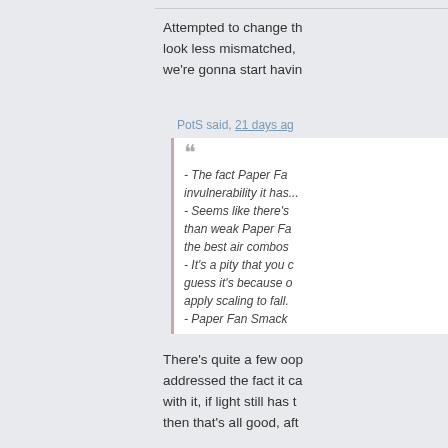Attempted to change th... look less mismatched, ... we're gonna start havin...
PotS said, 21 days ag...
- The fact Paper Fa... invulnerability it has... - Seems like there's... than weak Paper Fa... the best air combos... - It's a pity that you... guess it's because o... apply scaling to fall... - Paper Fan Smack...
There's quite a few oop... addressed the fact it ca... with it, if light still has t... then that's all good, aft...